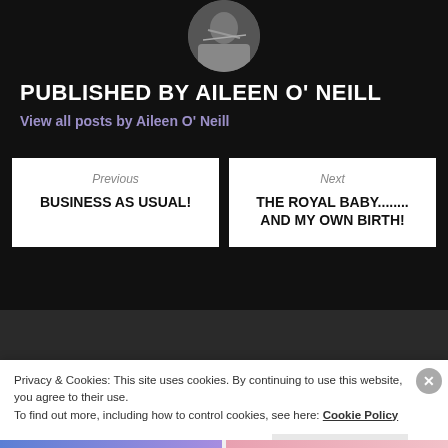[Figure (photo): Circular avatar photo of Aileen O'Neill, showing a person outdoors]
PUBLISHED BY AILEEN O' NEILL
View all posts by Aileen O' Neill
Previous
BUSINESS AS USUAL!
Next
THE ROYAL BABY........ AND MY OWN BIRTH!
Privacy & Cookies: This site uses cookies. By continuing to use this website, you agree to their use.
To find out more, including how to control cookies, see here: Cookie Policy
Close and accept